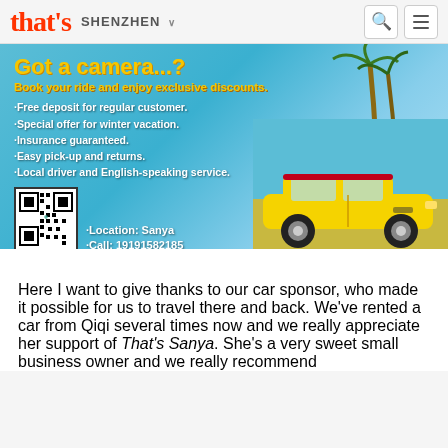that's SHENZHEN
[Figure (photo): Car rental advertisement with tropical beach background, yellow Porsche sports car, QR code, text: Got a camera...? Book your ride and enjoy exclusive discounts. Bullet points: Free deposit for regular customer. Special offer for winter vacation. Insurance guaranteed. Easy pick-up and returns. Local driver and English-speaking service. Location: Sanya. Call: 19191582185]
Here I want to give thanks to our car sponsor, who made it possible for us to travel there and back. We've rented a car from Qiqi several times now and we really appreciate her support of That's Sanya. She's a very sweet small business owner and we really recommend